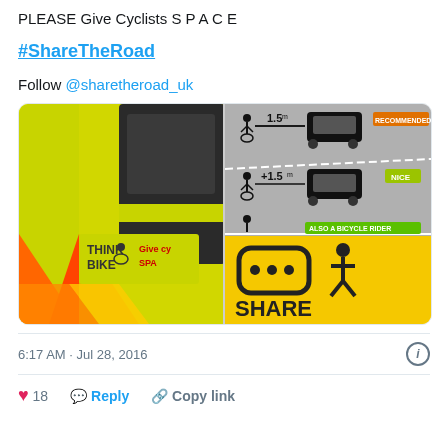PLEASE Give Cyclists S P A C E
#ShareTheRoad
Follow @sharetheroad_uk
[Figure (photo): Two photos side by side: left shows a police vehicle with reflective chevrons and a sticker reading 'THINK BIKE Give cy[clists] SPA[CE]'; right top shows an infographic of cyclist and car spacing (1.5m recommended, +1.5m NICE, also a bicycle rider); right bottom shows a yellow 'SHARE [THE ROAD]' sign with icons.]
6:17 AM · Jul 28, 2016
18  Reply  Copy link